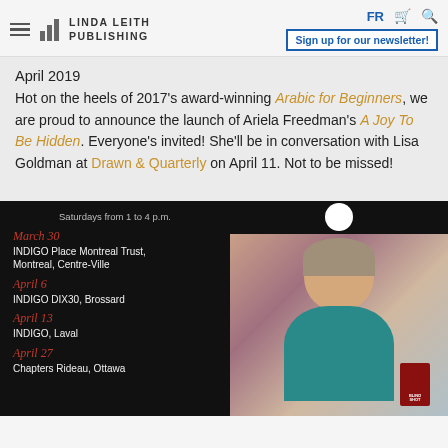LINDA LEITH PUBLISHING | FR | Sign up for our newsletter!
April 2019
Hot on the heels of 2017's award-winning Arabic for Beginners, we are proud to announce the launch of Ariela Freedman's A Joy To Be Hidden. Everyone's invited! She'll be in conversation with Lisa Goldman at Drawn & Quarterly on April 11. Not to be missed!
[Figure (photo): Black panel listing book signing events: Saturdays from 1 to 4 p.m. March 30 - INDIGO Place Montreal Trust, Montreal, Centre-Ville; April 6 - INDIGO DIX30, Brossard; April 13 - INDIGO, Laval; April 27 - Chapters Rideau, Ottawa]
[Figure (photo): Photo of a smiling middle-aged man in a teal shirt holding a book titled BLINDSHOT, with an abstract painting in the background]